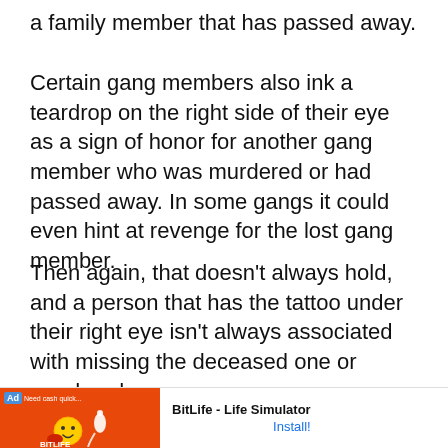a family member that has passed away.
Certain gang members also ink a teardrop on the right side of their eye as a sign of honor for another gang member who was murdered or had passed away. In some gangs it could even hint at revenge for the lost gang member.
Then again, that doesn’t always hold, and a person that has the tattoo under their right eye isn’t always associated with missing the deceased one or murdered.
Now that we highlighted the key meaning of the teardrop tattoo... symbolism of the...
[Figure (screenshot): Mobile advertisement banner for BitLife - Life Simulator app with red background on left side showing Ad label and game imagery, and install button on right]